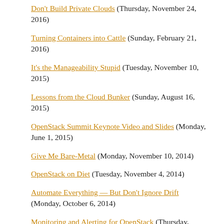Don't Build Private Clouds (Thursday, November 24, 2016)
Turning Containers into Cattle (Sunday, February 21, 2016)
It's the Manageability Stupid (Tuesday, November 10, 2015)
Lessons from the Cloud Bunker (Sunday, August 16, 2015)
OpenStack Summit Keynote Video and Slides (Monday, June 1, 2015)
Give Me Bare-Metal (Monday, November 10, 2014)
OpenStack on Diet (Tuesday, November 4, 2014)
Automate Everything — But Don't Ignore Drift (Monday, October 6, 2014)
Monitoring and Alerting for OpenStack (Thursday, ...)